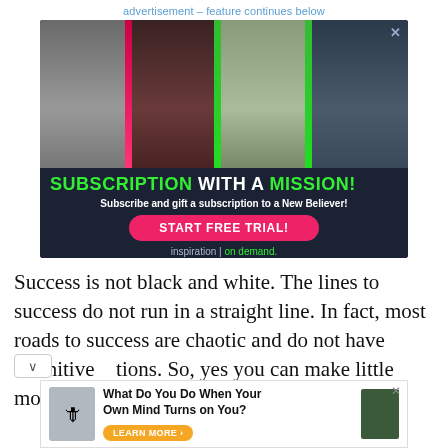advertisement – feature continues below
[Figure (photo): Advertisement banner showing four men (religious/inspirational speakers) with text: SUBSCRIPTION WITH A MISSION! Subscribe and gift a subscription to a New Believer! START FREE TRIAL! inspiration | on demand.]
Success is not black and white. The lines to success do not run in a straight line. In fact, most roads to success are chaotic and do not have definitive directions. So, yes you can make little money and
[Figure (photo): Advertisement banner: What Do You Do When Your Own Mind Turns on You? LEARN MORE > with knight figure and book cover images.]